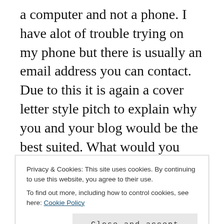a computer and not a phone. I have alot of trouble trying on my phone but there is usually an email address you can contact. Due to this it is again a cover letter style pitch to explain why you and your blog would be the best suited. What would you write about? Your viewer and visitors stats and all the rest of it (that's a whole other post guys! If you want it let me know in the comments).
Lesser-known companies and products which for me is like hidden gems! I mean we all know the
Privacy & Cookies: This site uses cookies. By continuing to use this website, you agree to their use.
To find out more, including how to control cookies, see here: Cookie Policy
another great site for review bloggers.